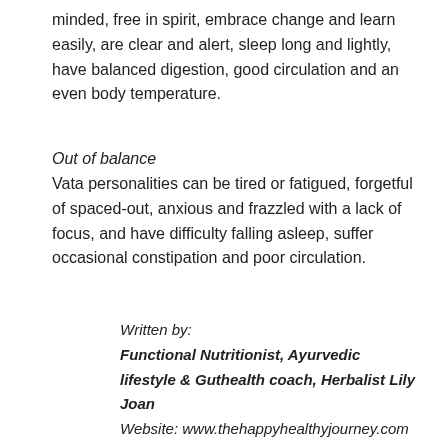minded, free in spirit, embrace change and learn easily, are clear and alert, sleep long and lightly, have balanced digestion, good circulation and an even body temperature.
Out of balance
Vata personalities can be tired or fatigued, forgetful of spaced-out, anxious and frazzled with a lack of focus, and have difficulty falling asleep, suffer occasional constipation and poor circulation.
Written by:
Functional Nutritionist, Ayurvedic lifestyle & Guthealth coach, Herbalist Lily Joan
Website: www.thehappyhealthyjourney.com
Instagram: @lilyjoanroberts & @thehappyhealthy.journey
Facebook: @HappyHealthyJourney